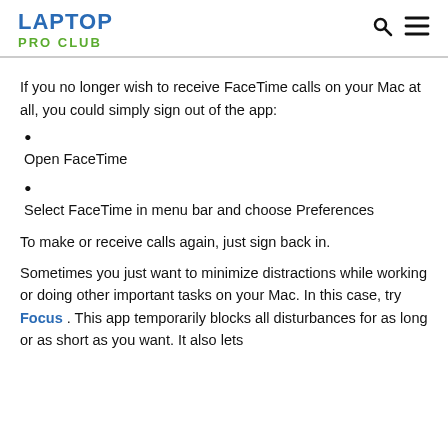LAPTOP PRO CLUB
If you no longer wish to receive FaceTime calls on your Mac at all, you could simply sign out of the app:
Open FaceTime
Select FaceTime in menu bar and choose Preferences
To make or receive calls again, just sign back in.
Sometimes you just want to minimize distractions while working or doing other important tasks on your Mac. In this case, try Focus . This app temporarily blocks all disturbances for as long or as short as you want. It also lets